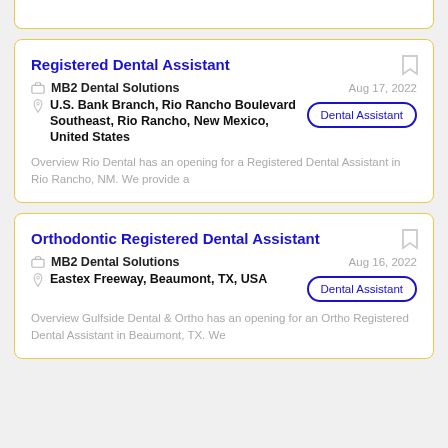Registered Dental Assistant
MB2 Dental Solutions
Aug 17, 2022
U.S. Bank Branch, Rio Rancho Boulevard Southeast, Rio Rancho, New Mexico, United States
Dental Assistant
Overview Rio Dental has an opening for a Registered Dental Assistant in Rio Rancho, NM. We provide a
Orthodontic Registered Dental Assistant
MB2 Dental Solutions
Aug 16, 2022
Eastex Freeway, Beaumont, TX, USA
Dental Assistant
Overview Gulfside Dental & Ortho has an opening for an Ortho Registered Dental Assistant in Beaumont, TX. We